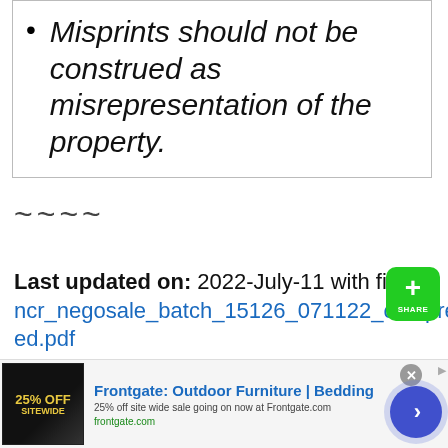Misprints should not be construed as misrepresentation of the property.
~~~~
Last updated on: 2022-July-11 with file ncr_negosale_batch_15126_071122_compressed.pdf